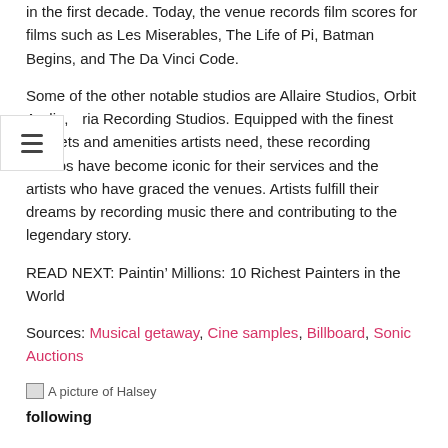in the first decade. Today, the venue records film scores for films such as Les Miserables, The Life of Pi, Batman Begins, and The Da Vinci Code.
Some of the other notable studios are Allaire Studios, Orbit Audio, [V]ria Recording Studios. Equipped with the finest gadgets and amenities artists need, these recording studios have become iconic for their services and the artists who have graced the venues. Artists fulfill their dreams by recording music there and contributing to the legendary story.
READ NEXT: Paintin’ Millions: 10 Richest Painters in the World
Sources: Musical getaway, Cine samples, Billboard, Sonic Auctions
[Figure (photo): A picture of Halsey]
following